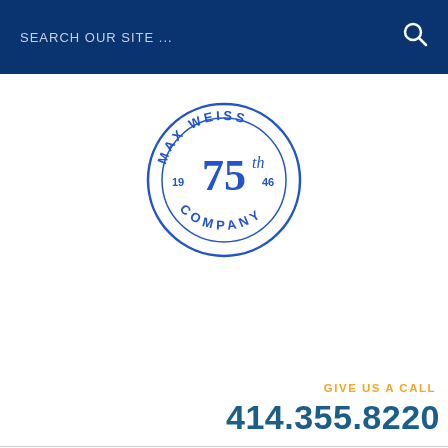SEARCH OUR SITE ...
[Figure (logo): Max Weiss Company 75th anniversary circular logo in blue with gold accents]
GIVE US A CALL
414.355.8220